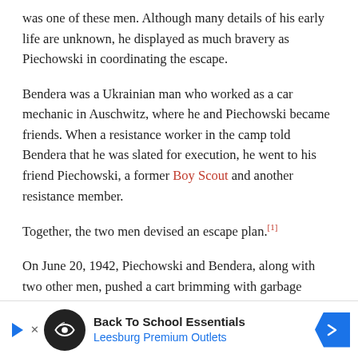was one of these men. Although many details of his early life are unknown, he displayed as much bravery as Piechowski in coordinating the escape.
Bendera was a Ukrainian man who worked as a car mechanic in Auschwitz, where he and Piechowski became friends. When a resistance worker in the camp told Bendera that he was slated for execution, he went to his friend Piechowski, a former Boy Scout and another resistance member.
Together, the two men devised an escape plan.[1]
On June 20, 1942, Piechowski and Bendera, along with two other men, pushed a cart brimming with garbage through the main camp and into a storage block. While three of the men stole officers' uniforms, Bendera went to the garage with a plan to acquire the largest car in riding...
[Figure (other): Advertisement banner: Back To School Essentials – Leesburg Premium Outlets]